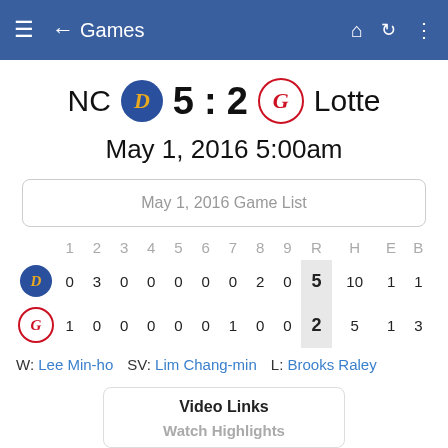Games
NC 5 : 2 Lotte
May 1, 2016 5:00am
May 1, 2016 Game List
|  | 1 | 2 | 3 | 4 | 5 | 6 | 7 | 8 | 9 | R | H | E | B |
| --- | --- | --- | --- | --- | --- | --- | --- | --- | --- | --- | --- | --- | --- |
| NC | 0 | 3 | 0 | 0 | 0 | 0 | 0 | 2 | 0 | 5 | 10 | 1 | 1 |
| Lotte | 1 | 0 | 0 | 0 | 0 | 0 | 1 | 0 | 0 | 2 | 5 | 1 | 3 |
W: Lee Min-ho   SV: Lim Chang-min   L: Brooks Raley
Video Links
Watch Highlights